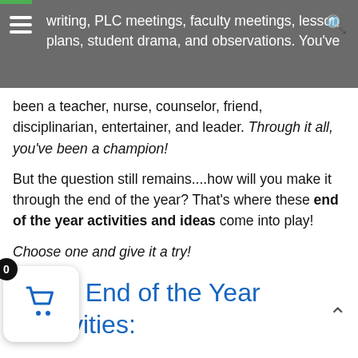writing, PLC meetings, faculty meetings, lesson plans, student drama, and observations. You've
been a teacher, nurse, counselor, friend, disciplinarian, entertainer, and leader. Through it all, you've been a champion!
But the question still remains....how will you make it through the end of the year? That's where these end of the year activities and ideas come into play!
Choose one and give it a try!
7 Fun End of the Year Activities: